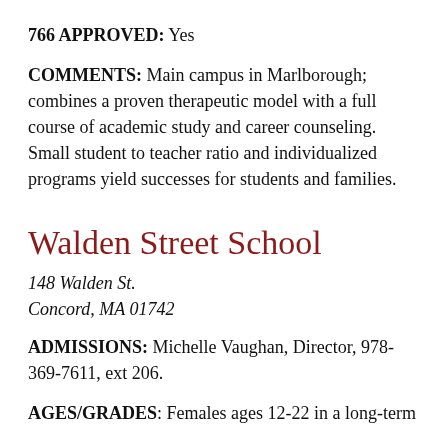766 APPROVED: Yes
COMMENTS: Main campus in Marlborough; combines a proven therapeutic model with a full course of academic study and career counseling. Small student to teacher ratio and individualized programs yield successes for students and families.
Walden Street School
148 Walden St.
Concord, MA 01742
ADMISSIONS: Michelle Vaughan, Director, 978-369-7611, ext 206.
AGES/GRADES: Females ages 12-22 in a long-term